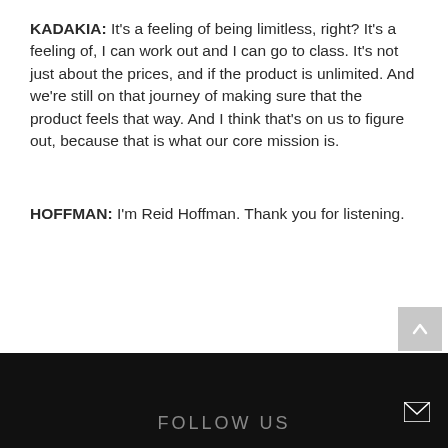KADAKIA: It's a feeling of being limitless, right? It's a feeling of, I can work out and I can go to class. It's not just about the prices, and if the product is unlimited. And we're still on that journey of making sure that the product feels that way. And I think that's on us to figure out, because that is what our core mission is.
HOFFMAN: I'm Reid Hoffman. Thank you for listening.
FOLLOW US